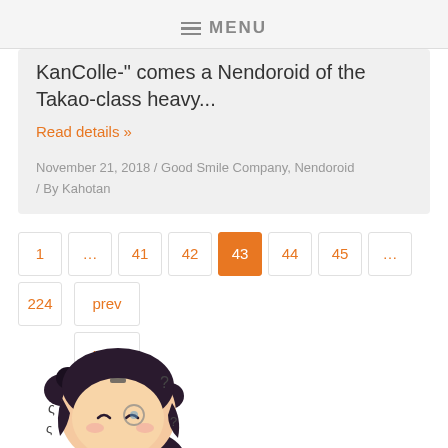MENU
KanColle-" comes a Nendoroid of the Takao-class heavy...
Read details »
November 21, 2018 / Good Smile Company, Nendoroid / By Kahotan
Pagination: 1 … 41 42 43 44 45 … 224 prev next
[Figure (illustration): Cartoon mascot character with dark hair and hair buns, drawn in anime/chibi style, partially visible at bottom of page]